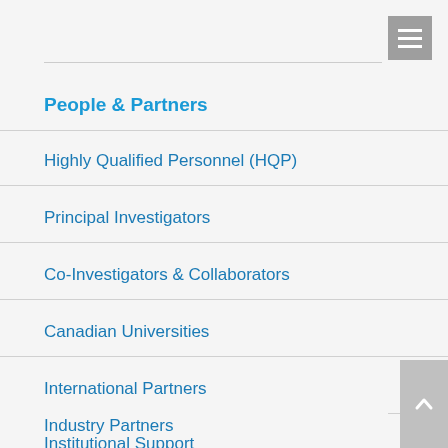People & Partners
Highly Qualified Personnel (HQP)
Principal Investigators
Co-Investigators & Collaborators
Canadian Universities
International Partners
Industry Partners
Institutional Support